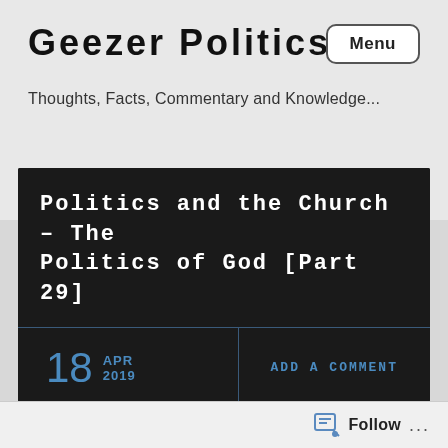Geezer Politics
Menu
Thoughts, Facts, Commentary and Knowledge...
Politics and the Church – The Politics of God [Part 29]
18 APR 2019
ADD A COMMENT
[Figure (illustration): A cross symbol with red border, blue vertical and horizontal bars, and white stars — resembling a Christian political flag or emblem on a white background.]
Follow ...